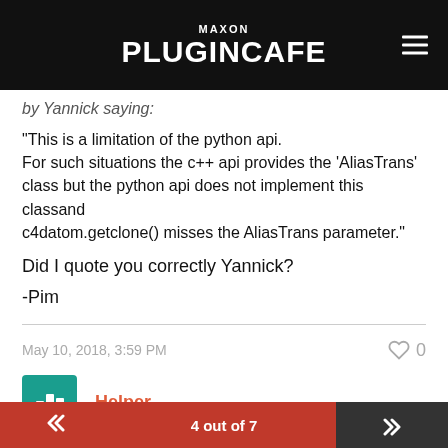MAXON PLUGINCAFE
by Yannick saying:
"This is a limitation of the python api. For such situations the c++ api provides the 'AliasTrans' class but the python api does not implement this classand c4datom.getclone() misses the AliasTrans parameter."
Did I quote you correctly Yannick?
-Pim
May 10, 2018, 3:59 PM  ♡ 0
Helper
4 out of 7